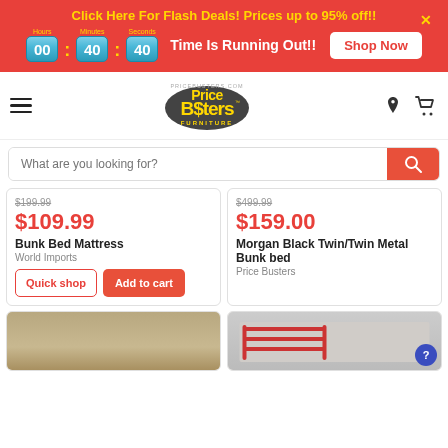Click Here For Flash Deals! Prices up to 95% off!! | Time Is Running Out!! | 00:40:40 | Shop Now
[Figure (logo): Price Busters Furniture logo with yellow and black text on white background]
What are you looking for?
$199.99 (strikethrough) $109.99 Bunk Bed Mattress World Imports
$499.99 (strikethrough) $159.00 Morgan Black Twin/Twin Metal Bunk bed Price Busters
[Figure (photo): Bedroom furniture photo, partially visible at bottom]
[Figure (photo): Red metal bunk bed photo, partially visible at bottom]